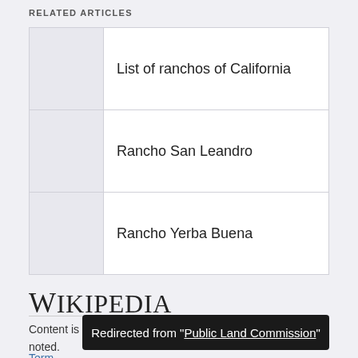RELATED ARTICLES
|  | List of ranchos of California |
|  | Rancho San Leandro |
|  | Rancho Yerba Buena |
[Figure (logo): Wikipedia logo text]
Content is available under CC BY-SA 3.0 unless otherwise noted.
Terms of Use  Privacy Policy
Redirected from "Public Land Commission"